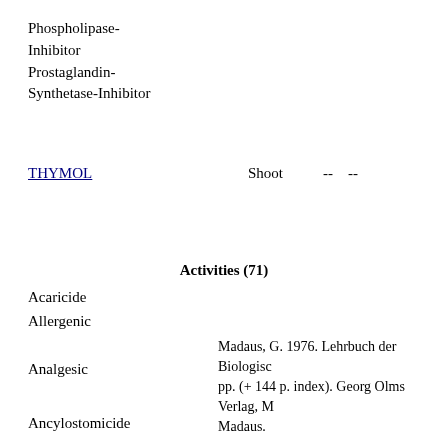Phospholipase-Inhibitor
Prostaglandin-Synthetase-Inhibitor
THYMOL   Shoot   --   --
Activities (71)
Acaricide
Allergenic
Analgesic
Madaus, G. 1976. Lehrbuch der Biologisc pp. (+ 144 p. index). Georg Olms Verlag, Madaus.
Ancylostomicide
Madaus, G. 1976. Lehrbuch der Biologisc pp. (+ 144 p. index). Georg Olms Verlag,